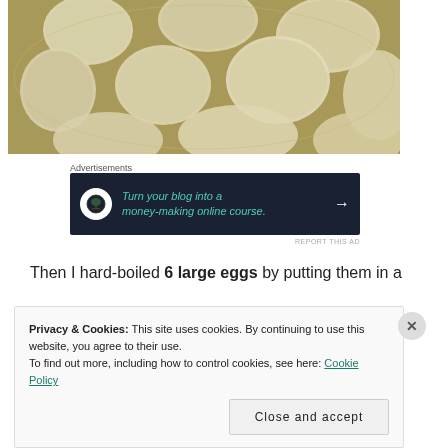[Figure (photo): Overhead view of chopped potatoes in water in a bowl/pan, boiling or soaking]
Advertisements
[Figure (infographic): Dark navy advertisement banner: 'Turn your blog into a money-making online course.' with a bonsai tree icon and right arrow]
REPORT THIS AD
Then I hard-boiled 6 large eggs by putting them in a
Privacy & Cookies: This site uses cookies. By continuing to use this website, you agree to their use.
To find out more, including how to control cookies, see here: Cookie Policy
Close and accept